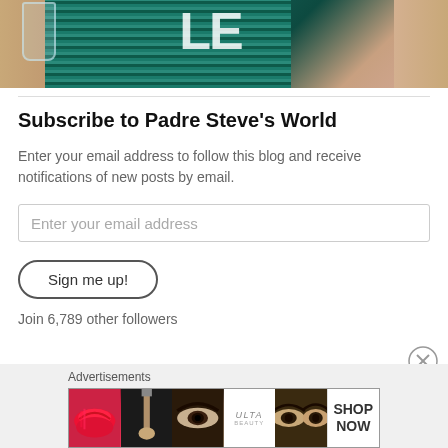[Figure (photo): Cropped top portion of an image showing a person holding a glass against a teal/green striped fabric background with partial white text/letters visible]
Subscribe to Padre Steve's World
Enter your email address to follow this blog and receive notifications of new posts by email.
Enter your email address
Sign me up!
Join 6,789 other followers
Advertisements
[Figure (illustration): Ulta Beauty advertisement banner showing makeup-related images: lips with lipstick, makeup brush, eye with makeup, Ulta Beauty logo, eye close-up, and SHOP NOW text]